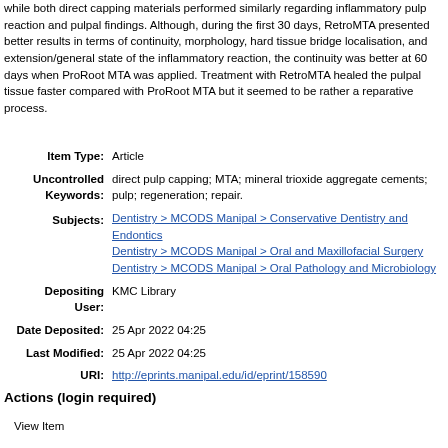while both direct capping materials performed similarly regarding inflammatory pulp reaction and pulpal findings. Although, during the first 30 days, RetroMTA presented better results in terms of continuity, morphology, hard tissue bridge localisation, and extension/general state of the inflammatory reaction, the continuity was better at 60 days when ProRoot MTA was applied. Treatment with RetroMTA healed the pulpal tissue faster compared with ProRoot MTA but it seemed to be rather a reparative process.
| Item Type: | Article |
| Uncontrolled Keywords: | direct pulp capping; MTA; mineral trioxide aggregate cements; pulp; regeneration; repair. |
| Subjects: | Dentistry > MCODS Manipal > Conservative Dentistry and Endontics
Dentistry > MCODS Manipal > Oral and Maxillofacial Surgery
Dentistry > MCODS Manipal > Oral Pathology and Microbiology |
| Depositing User: | KMC Library |
| Date Deposited: | 25 Apr 2022 04:25 |
| Last Modified: | 25 Apr 2022 04:25 |
| URI: | http://eprints.manipal.edu/id/eprint/158590 |
Actions (login required)
View Item